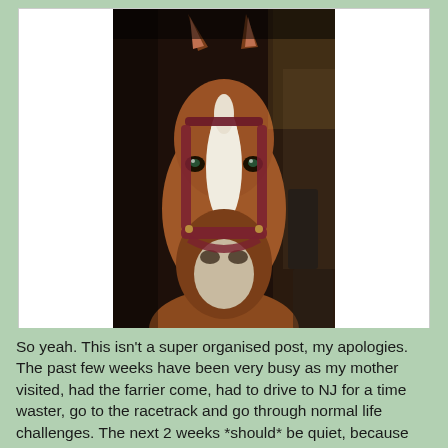[Figure (photo): Close-up photograph of a chestnut horse with a white blaze/stripe on its face, wearing a maroon halter, looking directly at the camera. The horse is in what appears to be a stable or barn aisle.]
"Racecar?!  Does Racecar require treats??  Because treats are just for me"
So yeah.  This isn't a super organised post, my apologies.  The past few weeks have been very busy as my mother visited, had the farrier come, had to drive to NJ for a time waster, go to the racetrack and go through normal life challenges.  The next 2 weeks *should* be quiet, because